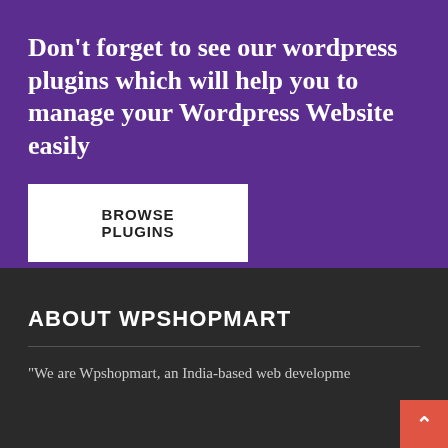Don't forget to see our wordpress plugins which will help you to manage your Wordpress Website easily
BROWSE PLUGINS
ABOUT WPSHOPMART
“We are Wpshopmart, an India-based web developme